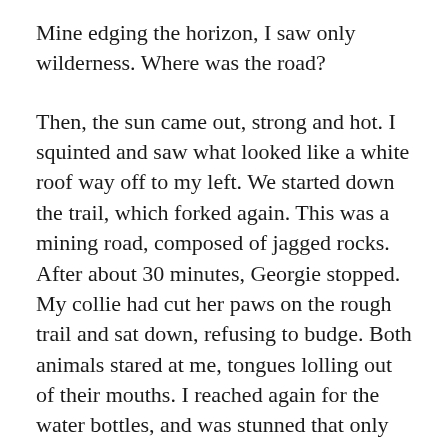Mine edging the horizon, I saw only wilderness. Where was the road?
Then, the sun came out, strong and hot. I squinted and saw what looked like a white roof way off to my left. We started down the trail, which forked again. This was a mining road, composed of jagged rocks. After about 30 minutes, Georgie stopped. My collie had cut her paws on the rough trail and sat down, refusing to budge. Both animals stared at me, tongues lolling out of their mouths. I reached again for the water bottles, and was stunned that only about an inch of precious fluid remained.
The heat became stifling. I tried carrying Georgie, but she was too heavy. I looked for shade, knowing that we should wait out the heat and hike at night. But could we all survive